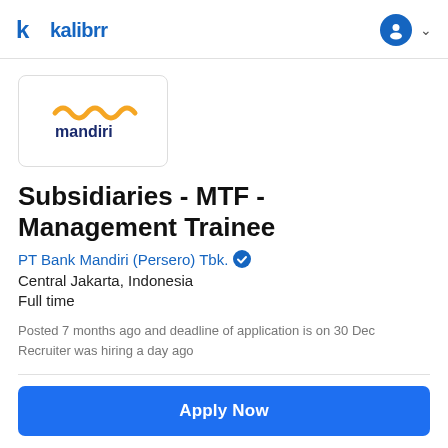kalibrr
[Figure (logo): Mandiri bank logo inside a rounded rectangle box]
Subsidiaries - MTF - Management Trainee
PT Bank Mandiri (Persero) Tbk.
Central Jakarta, Indonesia
Full time
Posted 7 months ago and deadline of application is on 30 Dec
Recruiter was hiring a day ago
Apply Now